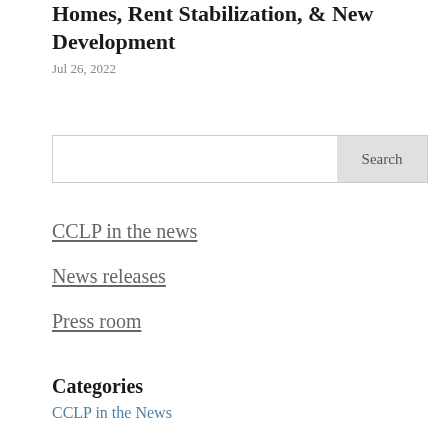Homes, Rent Stabilization, & New Development
Jul 26, 2022
[Figure (other): Search bar with Search button]
CCLP in the news
News releases
Press room
Categories
CCLP in the News